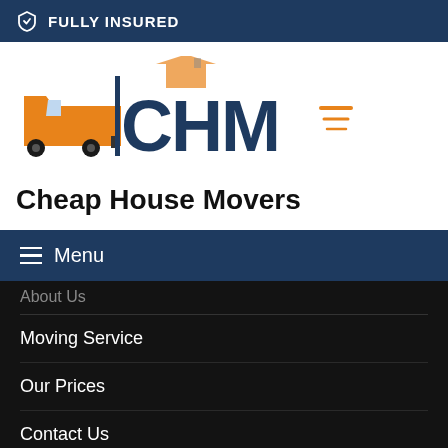FULLY INSURED
[Figure (logo): Cheap House Movers logo with orange moving truck and CHM text with speed lines]
Cheap House Movers
Menu
About Us
Moving Service
Our Prices
Contact Us
Blog
Areas We Serve
Melbourne Suburbs